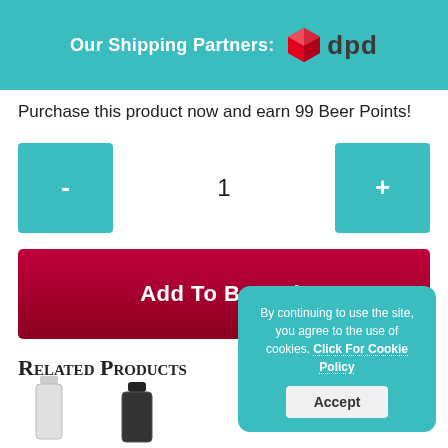Our Shipping Partners: dpd
Purchase this product now and earn 99 Beer Points!
- 1 +
Add To Bar Tab
Related Products
[Figure (photo): Two product bottle thumbnails partially visible at bottom of page]
By continuing to use the site, you agree to the use of cookies. Click For Cookie Policy
Accept